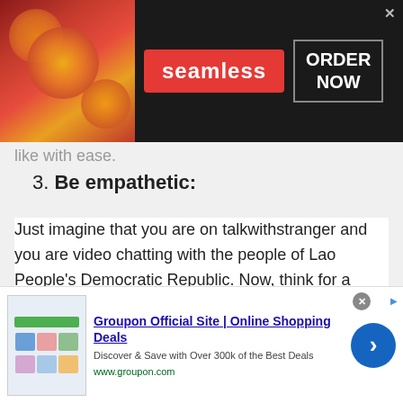[Figure (screenshot): Seamless food delivery advertisement banner with pizza image on left, Seamless logo in red badge center, ORDER NOW button in bordered box on right, dark background, close X button top right]
like with ease.
3. Be empathetic:
Just imagine that you are on talkwithstranger and you are video chatting with the people of Lao People's Democratic Republic. Now, think for a moment that you are not alone in this video call, rather you are doing video chat with random people of Lao People's Democratic Republic. When you chat with people of Lao People's Democratic
[Figure (screenshot): Groupon Official Site advertisement banner with thumbnails on left, Groupon Official Site | Online Shopping Deals title in blue, description text, www.groupon.com URL in green, blue arrow button on right, close X button top right]